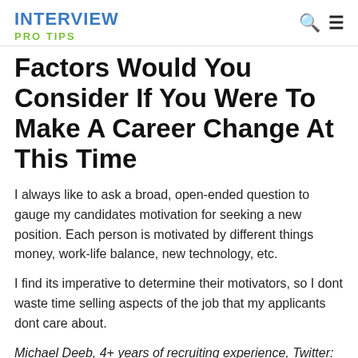INTERVIEW PRO TIPS
Factors Would You Consider If You Were To Make A Career Change At This Time
I always like to ask a broad, open-ended question to gauge my candidates motivation for seeking a new position. Each person is motivated by different things money, work-life balance, new technology, etc.
I find its imperative to determine their motivators, so I dont waste time selling aspects of the job that my applicants dont care about.
Michael Deeb, 4+ years of recruiting experience, Twitter: